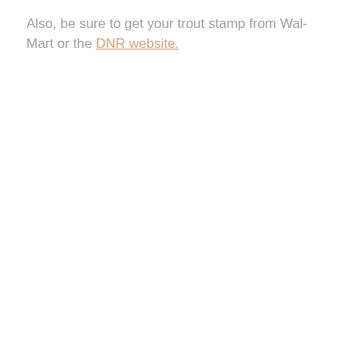Also, be sure to get your trout stamp from Wal-Mart or the DNR website.